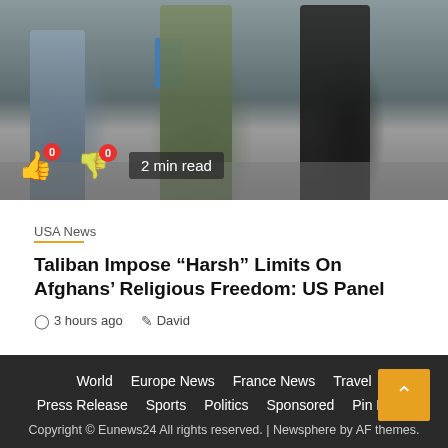[Figure (photo): News article photo showing people in military/traditional clothing standing on pavement, with a blue stool visible. Thumbs up and thumbs down vote buttons with red badges showing 0 each, and a '2 min read' label overlaid on the image.]
USA News
Taliban Impose “Harsh” Limits On Afghans’ Religious Freedom: US Panel
3 hours ago   David
World   Europe News   France News   Travel   Press Release   Sports   Politics   Sponsored   Pin Posts   Copyright © Eunews24 All rights reserved. | Newsphere by AF themes.